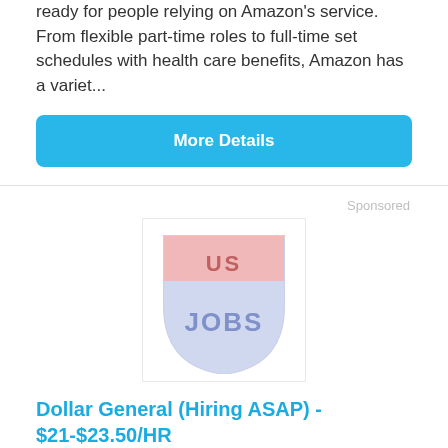ready for people relying on Amazon's service. From flexible part-time roles to full-time set schedules with health care benefits, Amazon has a variet...
More Details
Sponsored
[Figure (logo): US Jobs shield logo with red top section labeled 'US' and blue lower section labeled 'JOBS']
Dollar General (Hiring ASAP) - $21-$23.50/HR
UPS.SimplyJobs.com
Dollar General Openings, Flexible Hours. Cashier, Stocker, & More! Apply Now!